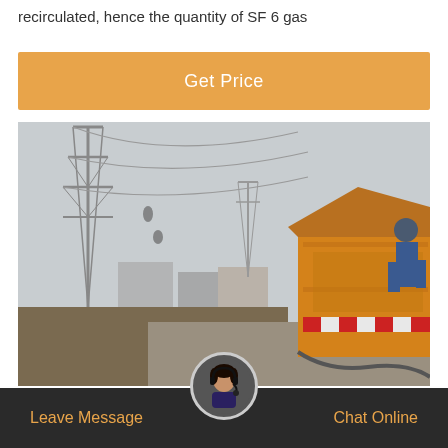recirculated, hence the quantity of SF 6 gas
Get Price
[Figure (photo): Industrial photo showing a yellow truck/service vehicle at an electrical substation with high-voltage transmission towers in the background. A worker in blue is visible near the vehicle.]
Leave Message   Chat Online